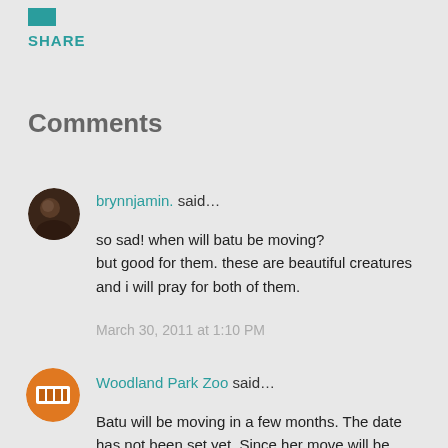SHARE
Comments
brynnjamin. said…
so sad! when will batu be moving?
but good for them. these are beautiful creatures and i will pray for both of them.
March 30, 2011 at 1:10 PM
Woodland Park Zoo said…
Batu will be moving in a few months. The date has not been set yet. Since her move will be international (going to Canada), it will take a bit